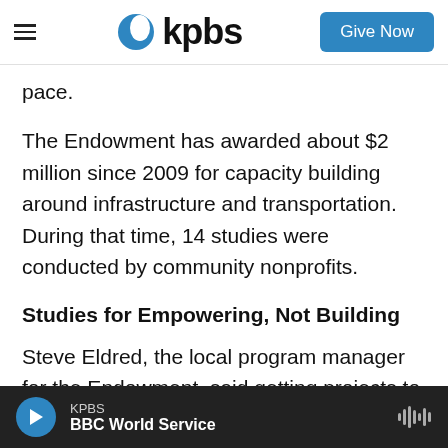kpbs | Give Now
pace.
The Endowment has awarded about $2 million since 2009 for capacity building around infrastructure and transportation. During that time, 14 studies were conducted by community nonprofits.
Studies for Empowering, Not Building
Steve Eldred, the local program manager for the Endowment, said getting projects to the construction phase isn't necessarily the primary goal of the grants his organization awards.
KPBS | BBC World Service